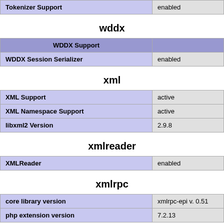| Tokenizer Support |  |
| --- | --- |
| Tokenizer Support | enabled |
wddx
| WDDX Support |  |
| --- | --- |
| WDDX Session Serializer | enabled |
xml
| XML Support | active |
| XML Namespace Support | active |
| libxml2 Version | 2.9.8 |
xmlreader
| XMLReader | enabled |
xmlrpc
| core library version | xmlrpc-epi v. 0.51 |
| php extension version | 7.2.13 |